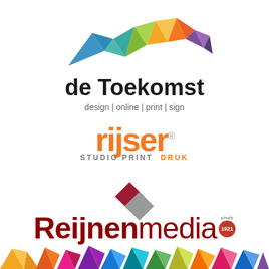[Figure (logo): de Toekomst logo with colorful geometric mountain/polygon shapes in blue, teal, green, yellow, orange, purple colors above the text 'de Toekomst' and tagline 'design | online | print | sign']
[Figure (logo): Rijser logo in orange bold font with registered trademark, subtitle 'STUDIO PRINT DRUK' in grey/orange uppercase letters, and a red/grey diamond shape below]
[Figure (logo): Reijnen media logo in dark red bold text with 'sinds 1921' badge, colorful geometric shapes at bottom]
[Figure (logo): Colorful geometric triangular shapes strip at the bottom of the page]